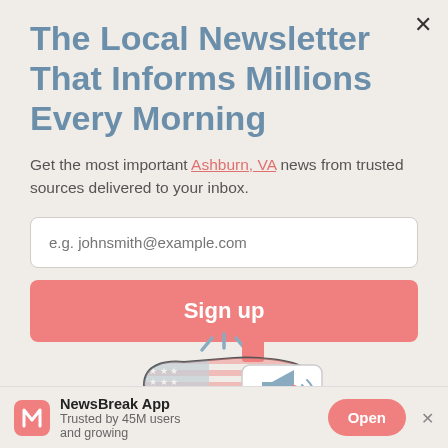The Local Newsletter That Informs Millions Every Morning
Get the most important Ashburn, VA news from trusted sources delivered to your inbox.
[Figure (infographic): Illustration of a USA map outline with a megaphone/speaker and speech bubble, decorated with American flag stars and stripes pattern, with decorative lines around it suggesting broadcasting]
NewsBreak App
Trusted by 45M users and growing